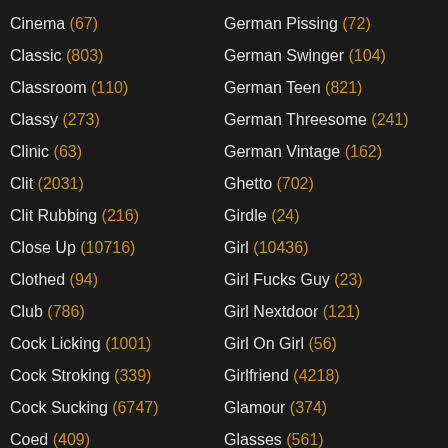Cinema (67)
Classic (803)
Classroom (110)
Classy (273)
Clinic (63)
Clit (2031)
Clit Rubbing (216)
Close Up (10716)
Clothed (94)
Club (786)
Cock Licking (1001)
Cock Stroking (339)
Cock Sucking (6747)
Coed (409)
College Girl (596)
College Party (99)
German Pissing (72)
German Swinger (104)
German Teen (821)
German Threesome (241)
German Vintage (162)
Ghetto (702)
Girdle (24)
Girl (10436)
Girl Fucks Guy (23)
Girl Nextdoor (121)
Girl On Girl (56)
Girlfriend (4218)
Glamour (374)
Glasses (561)
Gloryhole (658)
Gloves (62)